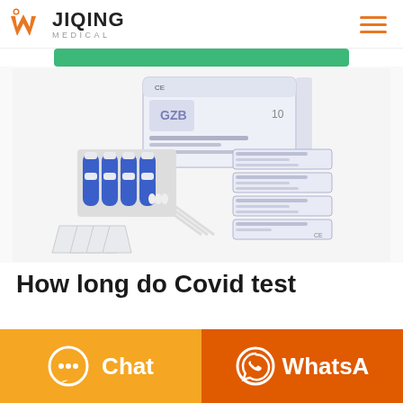JIQING MEDICAL
[Figure (photo): SARS-CoV-2 Antigen Detection Kit product photo showing a white box labeled 'SARS-CoV-2 Antigen Detection Kit', blue vials in a rack, nasal swabs, funnel-shaped collection caps, and individually wrapped test strips/cassettes]
How long do Covid test
Chat
WhatsA